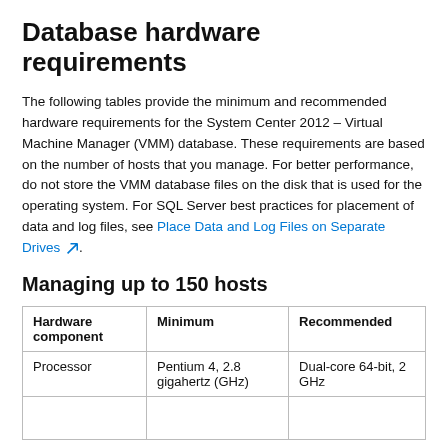Database hardware requirements
The following tables provide the minimum and recommended hardware requirements for the System Center 2012 – Virtual Machine Manager (VMM) database. These requirements are based on the number of hosts that you manage. For better performance, do not store the VMM database files on the disk that is used for the operating system. For SQL Server best practices for placement of data and log files, see Place Data and Log Files on Separate Drives.
Managing up to 150 hosts
| Hardware component | Minimum | Recommended |
| --- | --- | --- |
| Processor | Pentium 4, 2.8 gigahertz (GHz) | Dual-core 64-bit, 2 GHz |